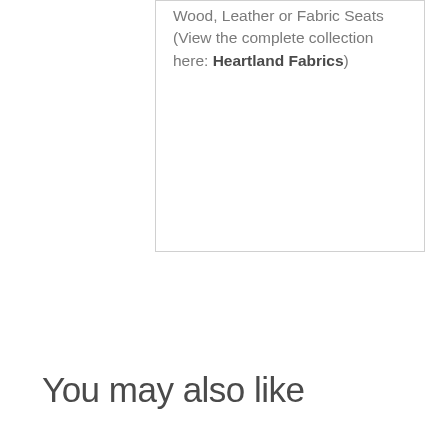Wood, Leather or Fabric Seats (View the complete collection here: Heartland Fabrics)
You may also like